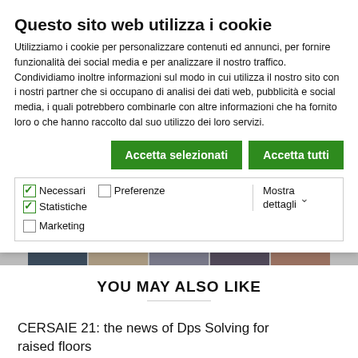Questo sito web utilizza i cookie
Utilizziamo i cookie per personalizzare contenuti ed annunci, per fornire funzionalità dei social media e per analizzare il nostro traffico. Condividiamo inoltre informazioni sul modo in cui utilizza il nostro sito con i nostri partner che si occupano di analisi dei dati web, pubblicità e social media, i quali potrebbero combinarle con altre informazioni che ha fornito loro o che hanno raccolto dal suo utilizzo dei loro servizi.
Accetta selezionati | Accetta tutti
Necessari  Preferenze  Statistiche  Marketing  Mostra dettagli
[Figure (photo): Strip of thumbnail photos]
YOU MAY ALSO LIKE
CERSAIE 21: the news of Dps Solving for raised floors